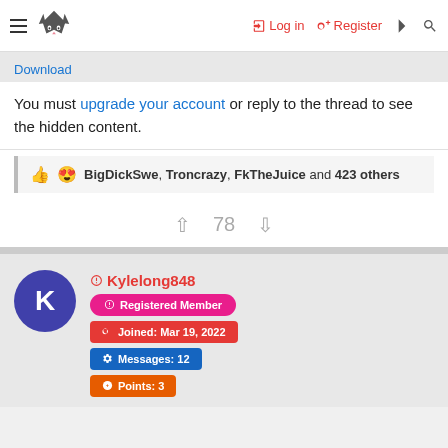Log in  Register
Download
You must upgrade your account or reply to the thread to see the hidden content.
BigDickSwe, Troncrazy, FkTheJuice and 423 others
78
Kylelong848  Registered Member  Joined: Mar 19, 2022  Messages: 12  Points: 3